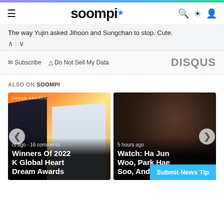soompi
The way Yujin asked Jihoon and Sungchan to stop. Cute.
Subscribe  Do Not Sell My Data  DISQUS
ALSO ON SOOMPI
[Figure (photo): Card showing group photo at 2022 K Global Heart Dream Awards event. Text overlay: 'rs ago · 16 comments' and 'Winners Of 2022 K Global Heart Dream Awards']
[Figure (photo): Card showing dark close-up photo. Text overlay: '5 hours ago' and 'Watch: Ha Jun Woo, Park Hae Soo, And ...']
Submit News Tip